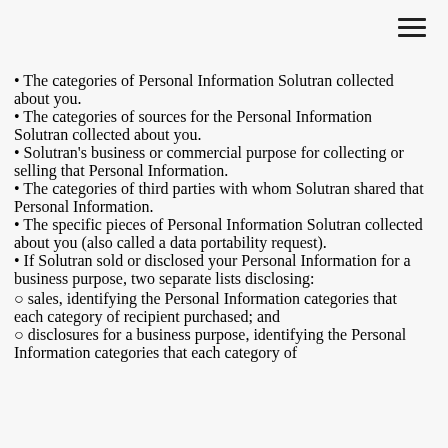The categories of Personal Information Solutran collected about you.
The categories of sources for the Personal Information Solutran collected about you.
Solutran's business or commercial purpose for collecting or selling that Personal Information.
The categories of third parties with whom Solutran shared that Personal Information.
The specific pieces of Personal Information Solutran collected about you (also called a data portability request).
If Solutran sold or disclosed your Personal Information for a business purpose, two separate lists disclosing:
sales, identifying the Personal Information categories that each category of recipient purchased; and
disclosures for a business purpose, identifying the Personal Information categories that each category of